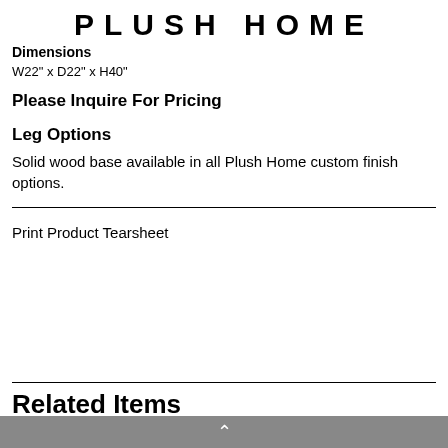PLUSH HOME
Dimensions
W22" x D22" x H40"
Please Inquire For Pricing
Leg Options
Solid wood base available in all Plush Home custom finish options.
Print Product Tearsheet
Related Items